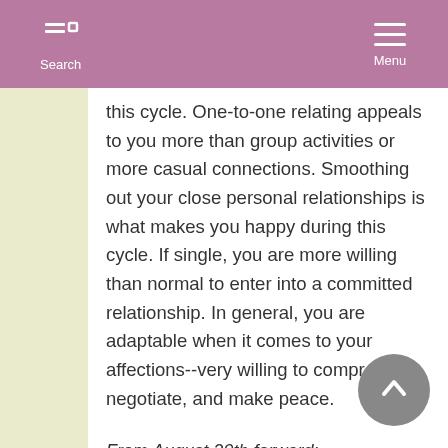Search  Menu
this cycle. One-to-one relating appeals to you more than group activities or more casual connections. Smoothing out your close personal relationships is what makes you happy during this cycle. If single, you are more willing than normal to enter into a committed relationship. In general, you are adaptable when it comes to your affections--very willing to compromise, negotiate, and make peace.
From August 29th forward: